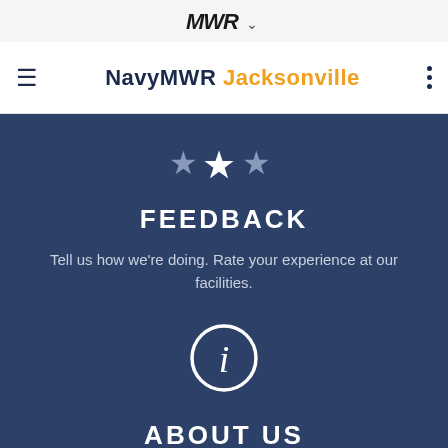MWR
NavyMWR Jacksonville
[Figure (illustration): Three white stars icon on dark blue background]
FEEDBACK
Tell us how we're doing. Rate your experience at our facilities.
[Figure (illustration): Information icon — circle with letter i inside]
ABOUT US
Learn more about Fleet & Family Readiness Programs and services.